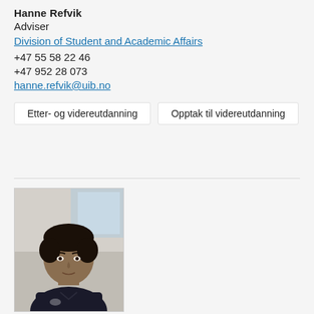Hanne Refvik
Adviser
Division of Student and Academic Affairs
+47 55 58 22 46
+47 952 28 073
hanne.refvik@uib.no
Etter- og videreutdanning
Opptak til videreutdanning
[Figure (photo): Portrait photo of a man with dark hair wearing a dark polo shirt, photographed indoors against a light background.]